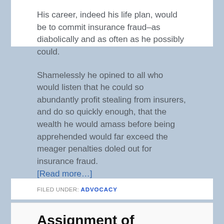His career, indeed his life plan, would be to commit insurance fraud–as diabolically and as often as he possibly could.
Shamelessly he opined to all who would listen that he could so abundantly profit stealing from insurers, and do so quickly enough, that the wealth he would amass before being apprehended would far exceed the meager penalties doled out for insurance fraud. [Read more…]
FILED UNDER: ADVOCACY
Assignment of Benefits—It's the data stupid!